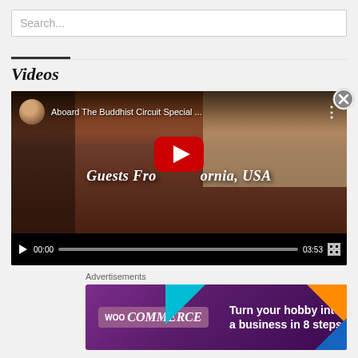Search...
Videos
[Figure (screenshot): YouTube video player showing 'Aboard The Buddhist Circuit Special ...' with subtitle 'Guests From California, USA'. Video thumbnail shows people dining at a restaurant. Controls show 00:00 / 03:53 with play button and fullscreen icon.]
Advertisements
[Figure (screenshot): WooCommerce advertisement banner: 'Turn your hobby into a business in 8 steps' on purple background with teal, orange, and blue geometric corner accents.]